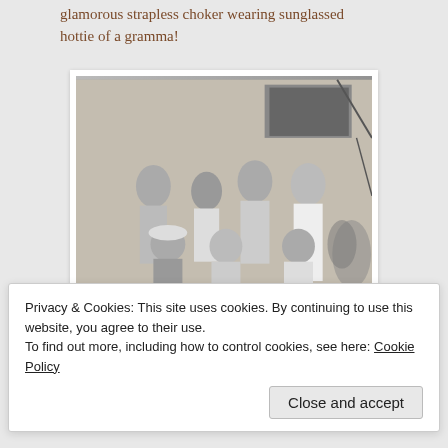glamorous strapless choker wearing sunglassed hottie of a gramma!
[Figure (photo): Black and white vintage photograph of a group of seven people posed outdoors against a wall. Three women standing in the back row, three men seated in the front row, and one woman standing on the right side. The woman on the right wears a strapless dress and sunglasses.]
duck, duck, duck, swan.
Privacy & Cookies: This site uses cookies. By continuing to use this website, you agree to their use.
To find out more, including how to control cookies, see here: Cookie Policy
Close and accept